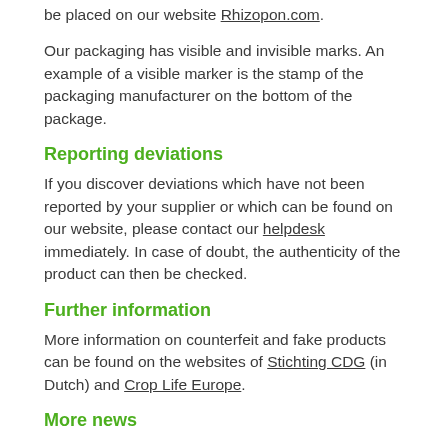be placed on our website Rhizopon.com.
Our packaging has visible and invisible marks. An example of a visible marker is the stamp of the packaging manufacturer on the bottom of the package.
Reporting deviations
If you discover deviations which have not been reported by your supplier or which can be found on our website, please contact our helpdesk immediately. In case of doubt, the authenticity of the product can then be checked.
Further information
More information on counterfeit and fake products can be found on the websites of Stichting CDG (in Dutch) and Crop Life Europe.
More news